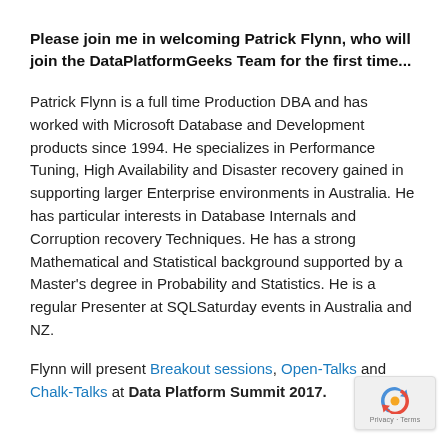Please join me in welcoming Patrick Flynn, who will join the DataPlatformGeeks Team for the first time...
Patrick Flynn is a full time Production DBA and has worked with Microsoft Database and Development products since 1994. He specializes in Performance Tuning, High Availability and Disaster recovery gained in supporting larger Enterprise environments in Australia. He has particular interests in Database Internals and Corruption recovery Techniques. He has a strong Mathematical and Statistical background supported by a Master's degree in Probability and Statistics. He is a regular Presenter at SQLSaturday events in Australia and NZ.
Flynn will present Breakout sessions, Open-Talks and Chalk-Talks at Data Platform Summit 2017.